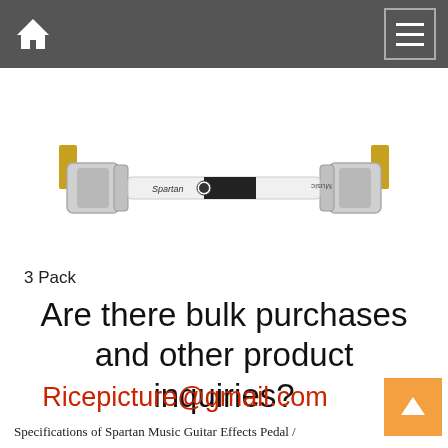[Figure (screenshot): Website navigation bar with home icon on left and hamburger menu icon on right, dark gray background]
[Figure (photo): Spartan Music Guitar Effects Pedal patch cable, white/silver with right-angle connectors on both ends, labeled 3 Pack]
3 Pack
Are there bulk purchases and other product inquiries?
Ricepicture@gmail.com
Specifications of Spartan Music Guitar Effects Pedal /